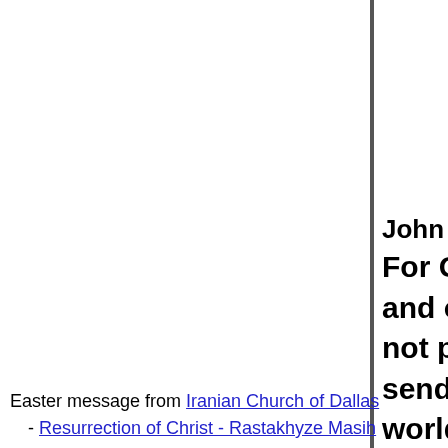Persian/Farsi biblical text (John 3:16-17) in RTL script, followed by English: John 3:16-17 — For God so loved the wo... and only Son, that whoe... not perish but have eter... send his Son into the wo... world, but to save the w...
Easter message from Iranian Church of Dallas - Resurrection of Christ - Rastakhyze Masih